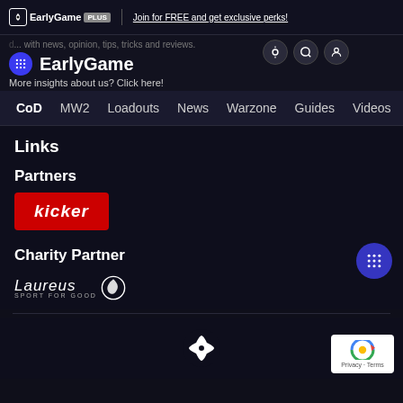EarlyGame PLUS | Join for FREE and get exclusive perks!
EarlyGame — with news, opinion, tips, tricks and reviews. More insights about us? Click here!
CoD  MW2  Loadouts  News  Warzone  Guides  Videos
Links
Partners
[Figure (logo): Kicker logo — white text 'kicker' on red background]
Charity Partner
[Figure (logo): Laureus Sport for Good logo — italic text with circular icon]
[Figure (logo): EarlyGame circular logo mark in white at footer center]
[Figure (other): Google reCAPTCHA badge — Privacy · Terms]